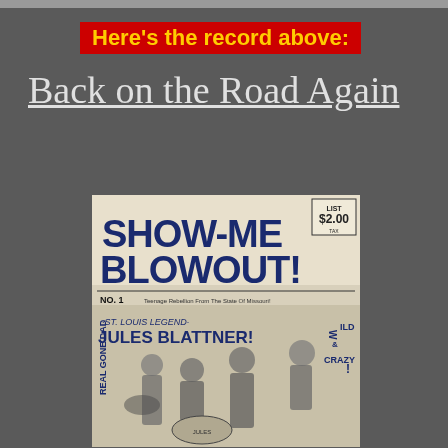Here's the record above:
Back on the Road Again
[Figure (photo): Album cover for 'Show-Me Blowout! No. 1' featuring St. Louis Legend Jules Blattner, with band photo and text 'Wild & Crazy', 'Real Gone Dad', price $2.00]